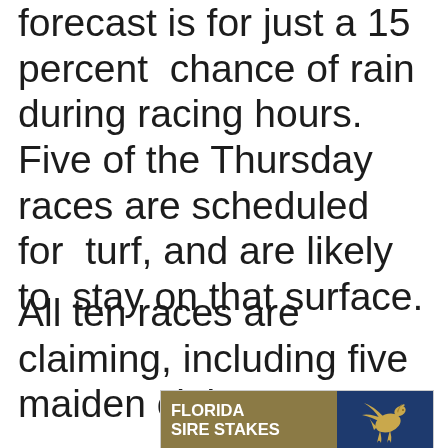forecast is for just a 15 percent chance of rain during racing hours. Five of the Thursday races are scheduled for turf, and are likely to stay on that surface.
All ten races are claiming, including five maiden claimers.
[Figure (logo): Florida Sire Stakes advertisement banner with gold left panel showing white bold text 'FLORIDA SIRE STAKES' and dark blue right panel with a golden Pegasus (winged horse) logo]